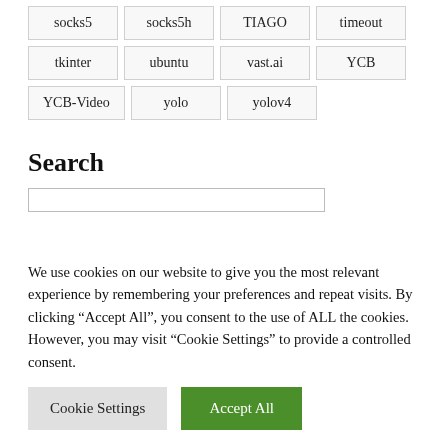socks5
socks5h
TIAGO
timeout
tkinter
ubuntu
vast.ai
YCB
YCB-Video
yolo
yolov4
Search
We use cookies on our website to give you the most relevant experience by remembering your preferences and repeat visits. By clicking "Accept All", you consent to the use of ALL the cookies. However, you may visit "Cookie Settings" to provide a controlled consent.
Cookie Settings  Accept All